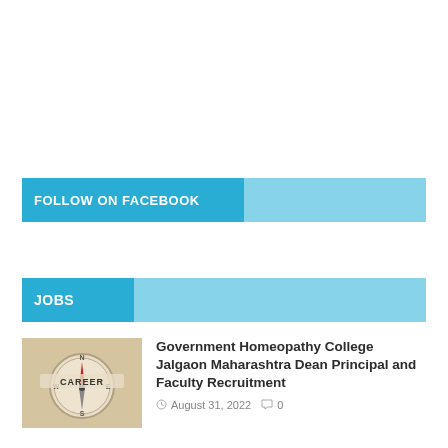FOLLOW ON FACEBOOK
JOBS
[Figure (photo): A compass pointing to 'CAREER' with a red needle on a beige background]
Government Homeopathy College Jalgaon Maharashtra Dean Principal and Faculty Recruitment
August 31, 2022  0